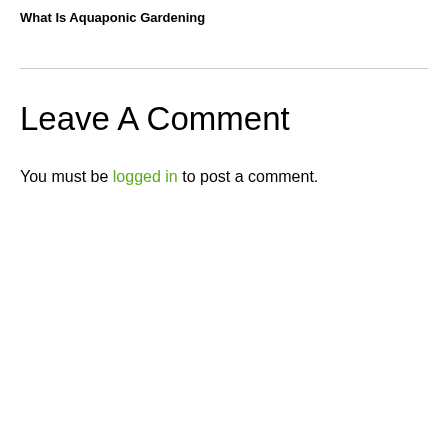What Is Aquaponic Gardening
Leave A Comment
You must be logged in to post a comment.